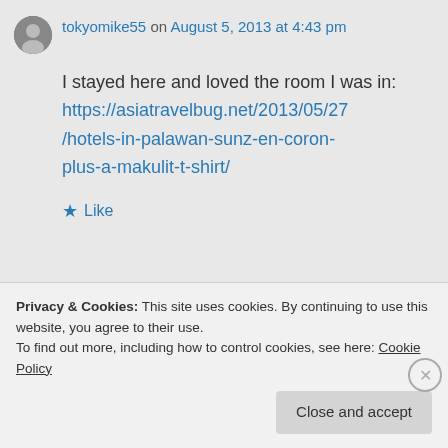tokyomike55 on August 5, 2013 at 4:43 pm
I stayed here and loved the room I was in: https://asiatravelbug.net/2013/05/27/hotels-in-palawan-sunz-en-coron-plus-a-makulit-t-shirt/
Like
Privacy & Cookies: This site uses cookies. By continuing to use this website, you agree to their use. To find out more, including how to control cookies, see here: Cookie Policy
Close and accept